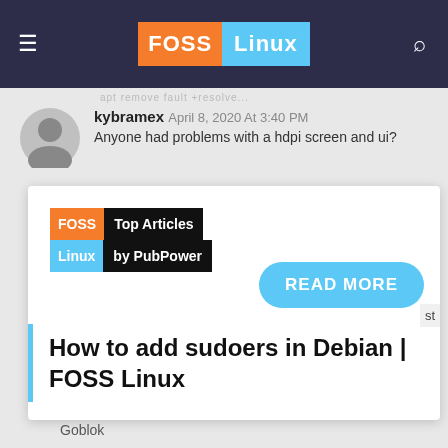FOSS Linux
kybramex April 8, 2020 At 3:40 PM
Anyone had problems with a hdpi screen and ui?
[Figure (logo): FOSS Linux Top Articles by PubPower badge]
READ MORE
How to add sudoers in Debian | FOSS Linux
Goblok